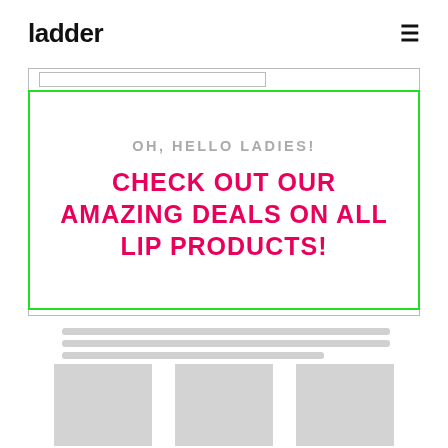ladder  ≡
[Figure (screenshot): Browser wireframe with address bar and green-bordered hero banner reading 'OH, HELLO LADIES! CHECK OUT OUR AMAZING DEALS ON ALL LIP PRODUCTS!']
OH, HELLO LADIES!
CHECK OUT OUR AMAZING DEALS ON ALL LIP PRODUCTS!
[Figure (infographic): Three placeholder product cards with grey image boxes and grey text lines below each]
(text placeholder lines)